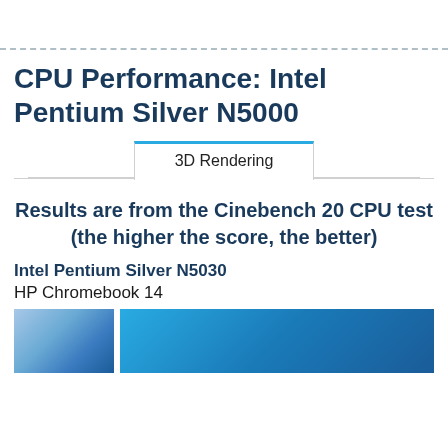CPU Performance: Intel Pentium Silver N5000
3D Rendering
Results are from the Cinebench 20 CPU test (the higher the score, the better)
Intel Pentium Silver N5030
HP Chromebook 14
[Figure (photo): Two thumbnail images at the bottom of the page, partially visible. Left image appears to be a scenic/nature photo with blue tones. Right image is a solid blue rectangle.]